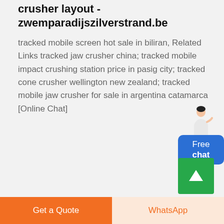crusher layout - zwemparadijszilverstrand.be
tracked mobile screen hot sale in biliran, Related Links tracked jaw crusher china; tracked mobile impact crushing station price in pasig city; tracked cone crusher wellington new zealand; tracked mobile jaw crusher for sale in argentina catamarca [Online Chat]
[Figure (illustration): Blue chat widget button with person avatar saying Free chat]
[Figure (illustration): Green scroll-to-top button with upward arrow]
Get a Quote
WhatsApp